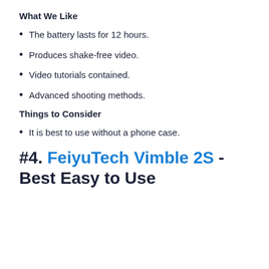What We Like
The battery lasts for 12 hours.
Produces shake-free video.
Video tutorials contained.
Advanced shooting methods.
Things to Consider
It is best to use without a phone case.
#4. FeiyuTech Vimble 2S - Best Easy to Use